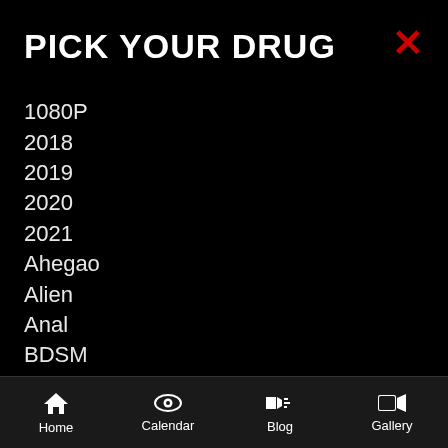PICK YOUR DRUG
1080P
2018
2019
2020
2021
Ahegao
Alien
Anal
BDSM
Big Boobs
Blackmail
Home  Calendar  Blog  Gallery